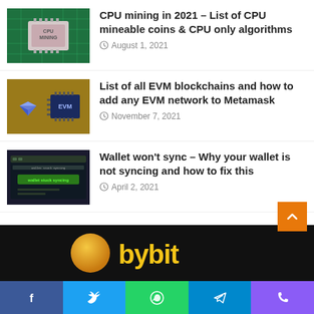[Figure (photo): CPU mining chip on green circuit board]
CPU mining in 2021 – List of CPU mineable coins & CPU only algorithms
August 1, 2021
[Figure (illustration): Ethereum diamond logo and blue EVM chip on gold background]
List of all EVM blockchains and how to add any EVM network to Metamask
November 7, 2021
[Figure (screenshot): Dark terminal screen with green wallet stuck syncing text]
Wallet won't sync – Why your wallet is not syncing and how to fix this
April 2, 2021
[Figure (logo): Bybit logo on black background]
[Figure (other): Social share bar with Facebook, Twitter, WhatsApp, Telegram, Phone icons]